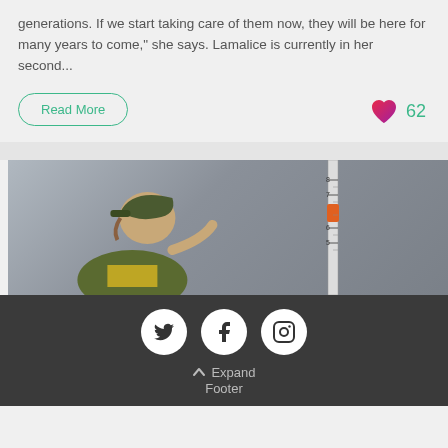generations. If we start taking care of them now, they will be here for many years to come," she says. Lamalice is currently in her second...
Read More
[Figure (other): Heart/like icon with count 62]
[Figure (photo): Person wearing a cap and safety vest holding a measuring ruler or gauge stick, outdoors]
[Figure (other): Social media icons: Twitter, Facebook, Instagram in white circles on dark background]
Expand Footer